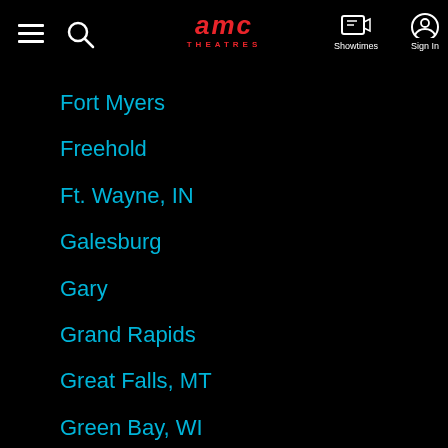AMC THEATRES — Showtimes | Sign In
Fort Myers
Freehold
Ft. Wayne, IN
Galesburg
Gary
Grand Rapids
Great Falls, MT
Green Bay, WI
Greensboro, NC
Greenville, NC
Harrisburg, PA